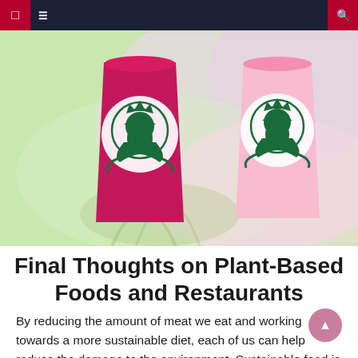Navigation bar with menu and search icons
[Figure (photo): Two Starbucks cups — one deep pink/magenta and one lighter pink — against a colorful pastel rainbow background with a blurred palm leaf shadow]
Final Thoughts on Plant-Based Foods and Restaurants
By reducing the amount of meat we eat and working towards a more sustainable diet, each of us can help reduce the damage to the environment. Sustainable food is about choosing foods that are healthy for our environment and ou